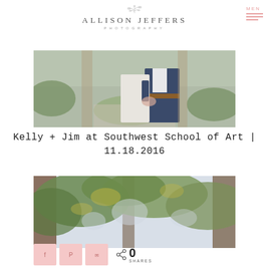[Figure (logo): Allison Jeffers Photography logo with decorative sprig, name in serif letterspaced font, and 'PHOTOGRAPHY' in small caps below]
[Figure (photo): Wedding photo showing couple (bride in white dress, groom in navy suit with brown belt) outdoors among greenery]
Kelly + Jim at Southwest School of Art | 11.18.2016
[Figure (photo): Outdoor photo looking up through large oak trees with green and yellow foliage against a bright sky]
[Figure (infographic): Social share bar with Facebook, Pinterest, Email buttons in pink and a share icon showing 0 SHARES]